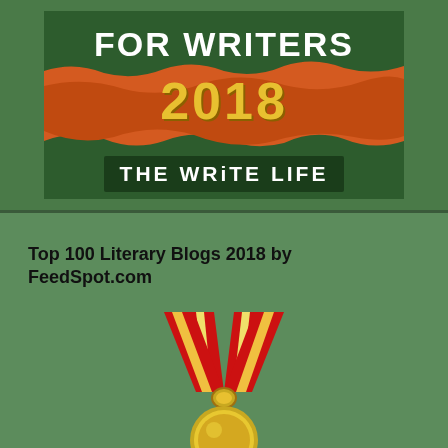[Figure (illustration): Book cover for 'Best Blogs for Writers 2018 - The Write Life' with dark green and orange torn paper design and yellow stylized '2018' text]
Top 100 Literary Blogs 2018 by FeedSpot.com
[Figure (illustration): Gold medal with red and yellow striped ribbon in a V shape, partially visible at bottom of page]